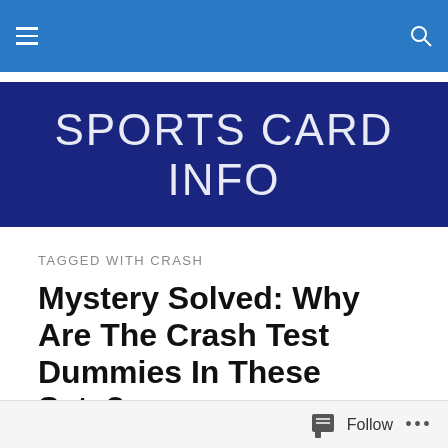Sports Card Info — navigation bar
[Figure (logo): Sports Card Info website logo — white text on dark navy blue background]
TAGGED WITH CRASH
Mystery Solved: Why Are The Crash Test Dummies In These Sets?
Are we alone in the universe?  Is Bigfoot real?  Who really shot JFK?  These are all questions that have plagued
Follow